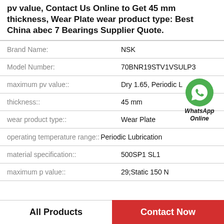pv value, Contact Us Online to Get 45 mm thickness, Wear Plate wear product type: Best China abec 7 Bearings Supplier Quote.
| Property | Value |
| --- | --- |
| Brand Name: | NSK |
| Model Number: | 70BNR19STV1VSULP3 |
| maximum pv value:: | Dry 1.65, Periodic L |
| thickness:: | 45 mm |
| wear product type:: | Wear Plate |
| operating temperature range:: | Periodic Lubrication |
| material specification:: | 500SP1 SL1 |
| maximum p value:: | 29;Static 150 N |